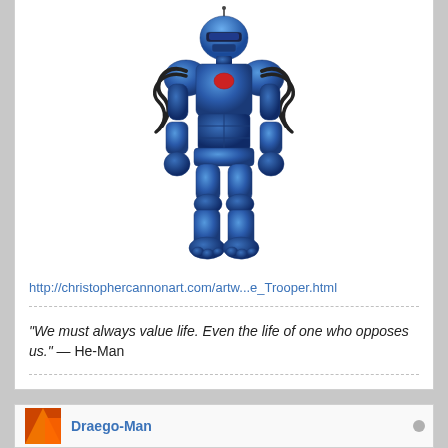[Figure (illustration): Blue metallic robot/trooper action figure standing upright with cables on shoulders, red chest emblem, and antenna on head]
http://christophercannonart.com/artw...e_Trooper.html
"We must always value life. Even the life of one who opposes us." — He-Man
Draego-Man